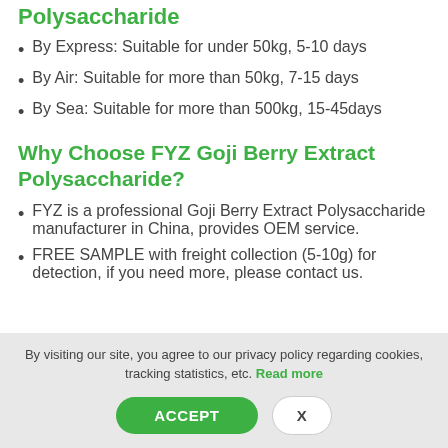Polysaccharide
By Express: Suitable for under 50kg, 5-10 days
By Air: Suitable for more than 50kg, 7-15 days
By Sea: Suitable for more than 500kg, 15-45days
Why Choose FYZ Goji Berry Extract Polysaccharide?
FYZ is a professional Goji Berry Extract Polysaccharide manufacturer in China, provides OEM service.
FREE SAMPLE with freight collection (5-10g) for detection, if you need more, please contact us.
By visiting our site, you agree to our privacy policy regarding cookies, tracking statistics, etc. Read more